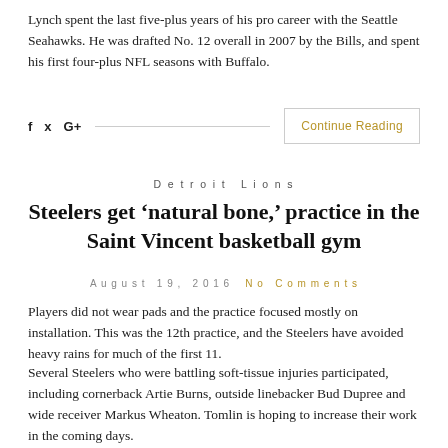Lynch spent the last five-plus years of his pro career with the Seattle Seahawks. He was drafted No. 12 overall in 2007 by the Bills, and spent his first four-plus NFL seasons with Buffalo.
f  y  G+   Continue Reading
Detroit Lions
Steelers get ‘natural bone,’ practice in the Saint Vincent basketball gym
August 19, 2016   No Comments
Players did not wear pads and the practice focused mostly on installation. This was the 12th practice, and the Steelers have avoided heavy rains for much of the first 11.
Several Steelers who were battling soft-tissue injuries participated, including cornerback Artie Burns, outside linebacker Bud Dupree and wide receiver Markus Wheaton. Tomlin is hoping to increase their work in the coming days.